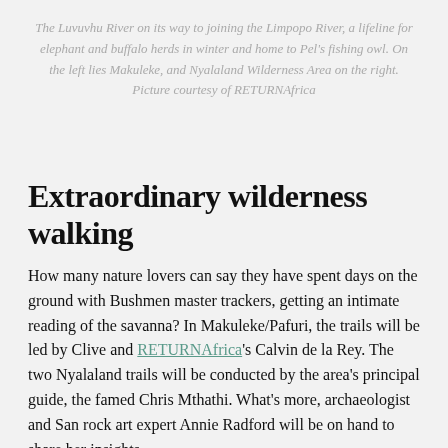The Luvuvhu River on its way to joining the Limpopo River, a lifeline for elephant and buffalo herds in winter and home to Pel's fishing owl. On the left lies Makuleke, and Nyalaland Wilderness Area on the right. Picture courtesy of RETURNAfrica
Extraordinary wilderness walking
How many nature lovers can say they have spent days on the ground with Bushmen master trackers, getting an intimate reading of the savanna? In Makuleke/Pafuri, the trails will be led by Clive and RETURNAfrica's Calvin de la Rey. The two Nyalaland trails will be conducted by the area's principal guide, the famed Chris Mthathi. What's more, archaeologist and San rock art expert Annie Radford will be on hand to share her insights.